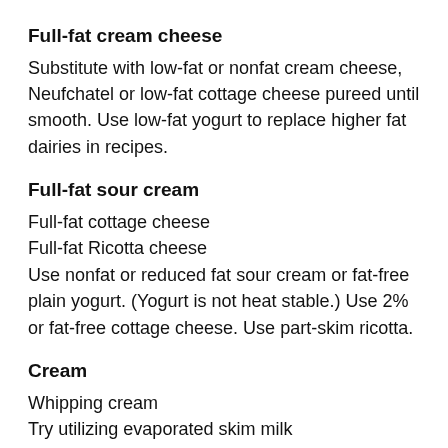Full-fat cream cheese
Substitute with low-fat or nonfat cream cheese, Neufchatel or low-fat cottage cheese pureed until smooth. Use low-fat yogurt to replace higher fat dairies in recipes.
Full-fat sour cream
Full-fat cottage cheese
Full-fat Ricotta cheese
Use nonfat or reduced fat sour cream or fat-free plain yogurt. (Yogurt is not heat stable.) Use 2% or fat-free cottage cheese. Use part-skim ricotta.
Cream
Whipping cream
Try utilizing evaporated skim milk
Use nonfat whipped topping or cream (This is only nonfat if…)